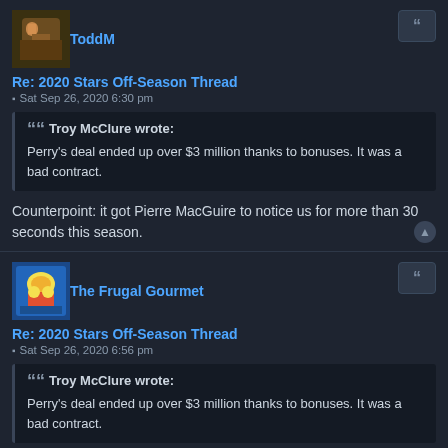ToddM
Re: 2020 Stars Off-Season Thread
Sat Sep 26, 2020 6:30 pm
Troy McClure wrote: Perry's deal ended up over $3 million thanks to bonuses. It was a bad contract.
Counterpoint: it got Pierre MacGuire to notice us for more than 30 seconds this season.
The Frugal Gourmet
Re: 2020 Stars Off-Season Thread
Sat Sep 26, 2020 6:56 pm
Troy McClure wrote: Perry's deal ended up over $3 million thanks to bonuses. It was a bad contract.